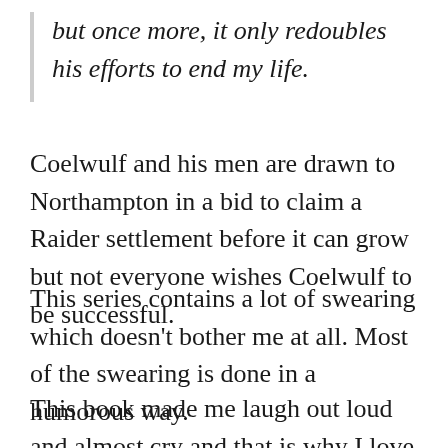but once more, it only redoubles his efforts to end my life.
Coelwulf and his men are drawn to Northampton in a bid to claim a Raider settlement before it can grow but not everyone wishes Coelwulf to be successful.
This series contains a lot of swearing which doesn't bother me at all. Most of the swearing is done in a humorous way.
This book made me laugh out loud and almost cry and that is why I love this series and these